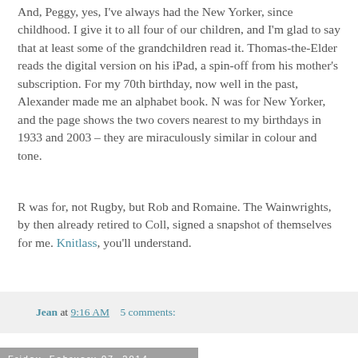And, Peggy, yes, I've always had the New Yorker, since childhood. I give it to all four of our children, and I'm glad to say that at least some of the grandchildren read it. Thomas-the-Elder reads the digital version on his iPad, a spin-off from his mother's subscription. For my 70th birthday, now well in the past, Alexander made me an alphabet book. N was for New Yorker, and the page shows the two covers nearest to my birthdays in 1933 and 2003 – they are miraculously similar in colour and tone.
R was for, not Rugby, but Rob and Romaine. The Wainwrights, by then already retired to Coll, signed a snapshot of themselves for me. Knitlass, you'll understand.
Jean at 9:16 AM    5 comments:
Friday, February 07, 2014
A new follower! You are very welcome!